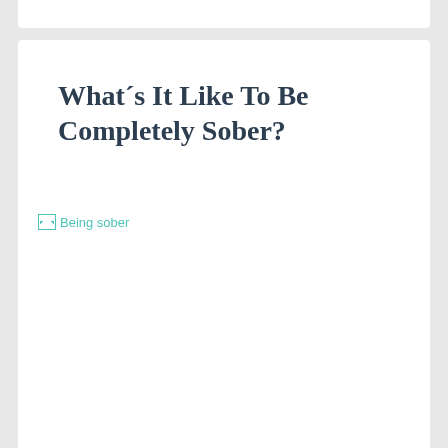What´s It Like To Be Completely Sober?
[Figure (photo): Broken image placeholder labeled 'Being sober']